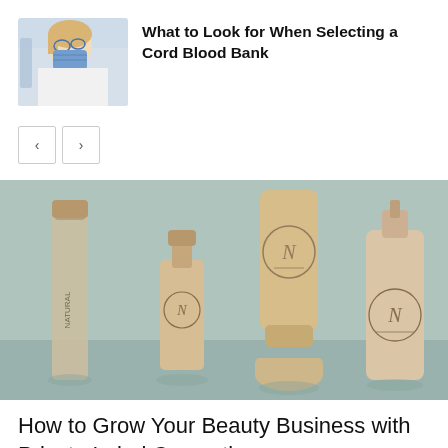[Figure (photo): Medical professional wearing mask and glasses looking down, in laboratory/medical setting]
What to Look for When Selecting a Cord Blood Bank
[Figure (other): Navigation previous and next arrow buttons]
[Figure (photo): Five cosmetic product bottles and tubes with 'N' branding on teal/sage green background — private label cosmetics]
How to Grow Your Beauty Business with Private Label Cosmetics